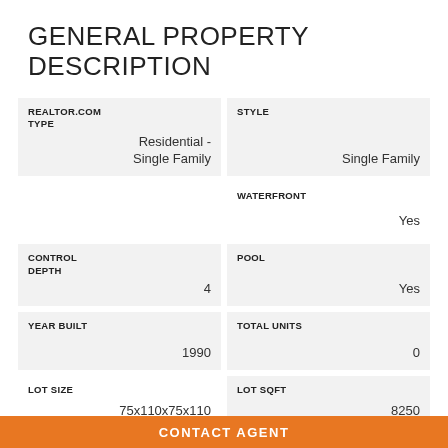GENERAL PROPERTY DESCRIPTION
| Field | Value |
| --- | --- |
| REALTOR.COM TYPE | Residential - Single Family |
| STYLE | Single Family |
| WATERFRONT | Yes |
| CONTROL DEPTH | 4 |
| POOL | Yes |
| YEAR BUILT | 1990 |
| TOTAL UNITS | 0 |
| LOT SIZE | 75x110x75x110 |
| LOT SQFT | 8250 |
CONTACT AGENT